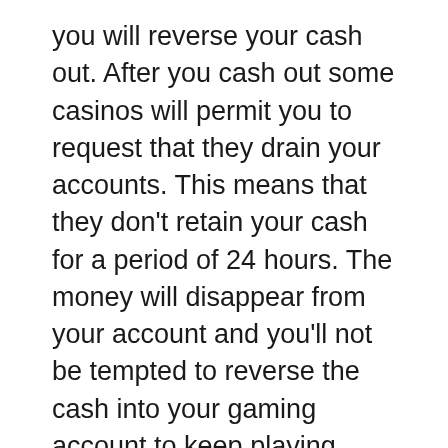you will reverse your cash out. After you cash out some casinos will permit you to request that they drain your accounts. This means that they don't retain your cash for a period of 24 hours. The money will disappear from your account and you'll not be tempted to reverse the cash into your gaming account to keep playing. Contact the casino via phone or via live chat at the moment you cash out and make an appointment to flush your account.
Finding cash that is free to play online slots is always a good idea. There are a variety of bonus no deposit that the casino offers you as a brand new player. Be sure to check your terms of service prior to accepting the no deposit bonus. Free slot